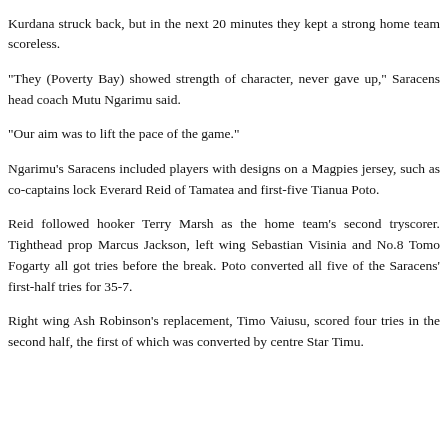Kurdana struck back, but in the next 20 minutes they kept a strong home team scoreless.
“They (Poverty Bay) showed strength of character, never gave up,” Saracens head coach Mutu Ngarimu said.
“Our aim was to lift the pace of the game.”
Ngarimu’s Saracens included players with designs on a Magpies jersey, such as co-captains lock Everard Reid of Tamatea and first-five Tianua Poto.
Reid followed hooker Terry Marsh as the home team’s second tryscorer. Tighthead prop Marcus Jackson, left wing Sebastian Visinia and No.8 Tomo Fogarty all got tries before the break. Poto converted all five of the Saracens’ first-half tries for 35-7.
Right wing Ash Robinson’s replacement, Timo Vaiusu, scored four tries in the second half, the first of which was converted by centre Star Timu.